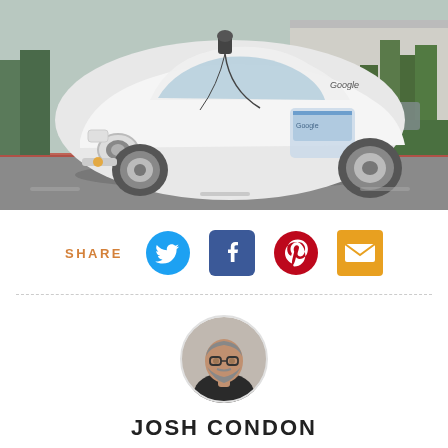[Figure (photo): A white Google self-driving car (autonomous vehicle prototype) parked in a parking lot with trees and a building in the background.]
SHARE
[Figure (illustration): Social share icons: Twitter (blue bird), Facebook (blue F), Pinterest (red P), Email (orange envelope)]
[Figure (photo): Circular author headshot of Josh Condon, a man with glasses and a beard.]
JOSH CONDON
View Josh Condon's Articles